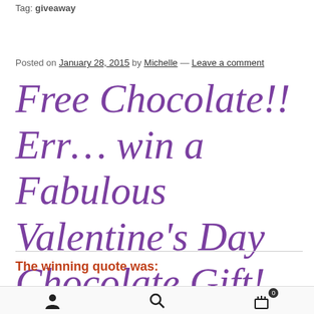Tag: giveaway
Posted on January 28, 2015 by Michelle — Leave a comment
Free Chocolate!! Err… win a Fabulous Valentine's Day Chocolate Gift!
The winning quote was:
navigation icons: user, search, cart (0)